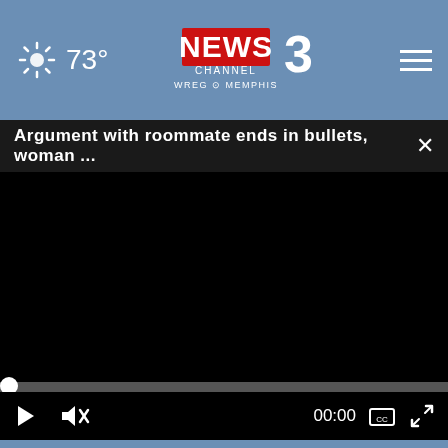[Figure (screenshot): News Channel 3 WREG Memphis website header with weather 73 degrees, logo, and hamburger menu on blue background]
Argument with roommate ends in bullets, woman ...
[Figure (screenshot): Video player showing black screen (video not loaded) with play button, mute button, timestamp 00:00, caption and fullscreen icons]
[Figure (screenshot): NHTSA advertisement banner with car seat safety icons and 'The Right Seat >' button]